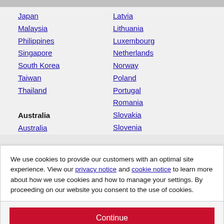Japan
Malaysia
Philippines
Singapore
South Korea
Taiwan
Thailand
Latvia
Lithuania
Luxembourg
Netherlands
Norway
Poland
Portugal
Romania
Slovakia
Slovenia
Australia
Australia
We use cookies to provide our customers with an optimal site experience. View our privacy notice and cookie notice to learn more about how we use cookies and how to manage your settings. By proceeding on our website you consent to the use of cookies.
Continue
Exit
Privacy Notice